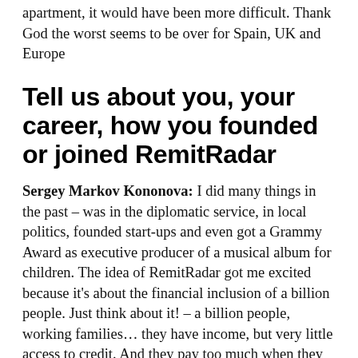apartment, it would have been more difficult. Thank God the worst seems to be over for Spain, UK and Europe
Tell us about you, your career, how you founded or joined RemitRadar
Sergey Markov Kononova: I did many things in the past – was in the diplomatic service, in local politics, founded start-ups and even got a Grammy Award as executive producer of a musical album for children. The idea of RemitRadar got me excited  because it's about the financial inclusion of a billion people. Just think about it! – a billion people, working families… they have income, but very little access to credit. And they pay too much when they send money home. We are solving this problem, and this is a great way to do good and make money at the same time. Therefore I am now a shareholder and CEO of RemitRadar, everything else has